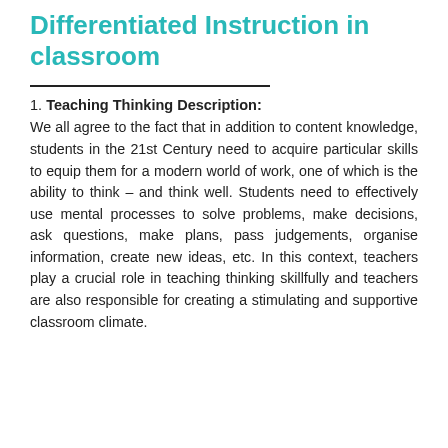Differentiated Instruction in classroom
1. Teaching Thinking Description:
We all agree to the fact that in addition to content knowledge, students in the 21st Century need to acquire particular skills to equip them for a modern world of work, one of which is the ability to think – and think well. Students need to effectively use mental processes to solve problems, make decisions, ask questions, make plans, pass judgements, organise information, create new ideas, etc. In this context, teachers play a crucial role in teaching thinking skillfully and teachers are also responsible for creating a stimulating and supportive classroom climate.